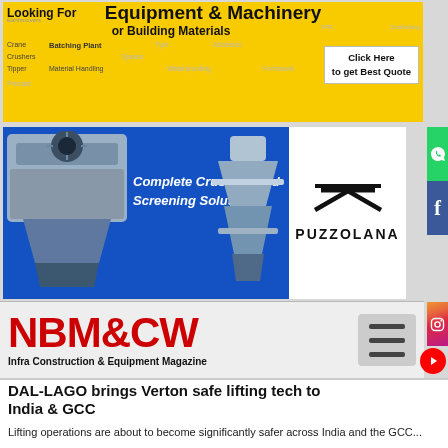[Figure (infographic): Yellow banner advertisement for Equipment & Machinery or Building Materials with keywords like Crane, Crushers, Tipper, Batching Plant, Material Handling, Tyre, Spare, Waterproofing, Asbestos, Precast, Scaffolding, Formwork and Click Here to get Best Quote button]
[Figure (infographic): Blue advertisement banner for Puzzolana showing Complete Crushing and Screening Solutions with machinery photos and Puzzolana logo]
[Figure (logo): NBM&CW - Infra Construction & Equipment Magazine logo in red bold text with hamburger menu icon]
DAL-LAGO brings Verton safe lifting tech to India & GCC
Lifting operations are about to become significantly safer across India and the GCC, as DAL-LAGO is now distributing Verton's world-first lifting and orientation...
Read more ...